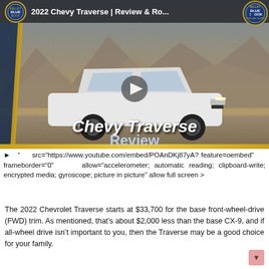[Figure (screenshot): YouTube video thumbnail for '2022 Chevy Traverse | Review & Ro...' showing a white Chevrolet Traverse SUV on a road with mountains in background, with 'Chevy Traverse Review' text overlay in large italic white/blue font, Kelley Blue Book badges in top corners, and a play button in the center.]
► " src="https://www.youtube.com/embed/POAnDKj87yA?feature=oembed" frameborder="0" allow="accelerometer; automatic reading; clipboard-write; encrypted media; gyroscope; picture in picture" allow full screen >
The 2022 Chevrolet Traverse starts at $33,700 for the base front-wheel-drive (FWD) trim. As mentioned, that's about $2,000 less than the base CX-9, and if all-wheel drive isn't important to you, then the Traverse may be a good choice for your family.